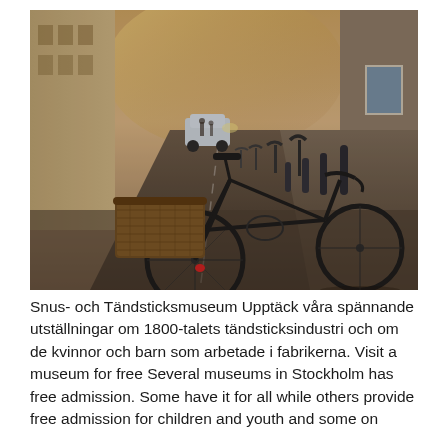[Figure (photo): Street scene in Stockholm with bicycles parked along a cobblestone sidewalk, a wicker basket on the closest bike, bicycle racks, bollards, and a car driving down the road with warm sunlight in the background.]
Snus- och Tändsticksmuseum Upptäck våra spännande utställningar om 1800-talets tändsticksindustri och om de kvinnor och barn som arbetade i fabrikerna. Visit a museum for free Several museums in Stockholm has free admission. Some have it for all while others provide free admission for children and youth and some on